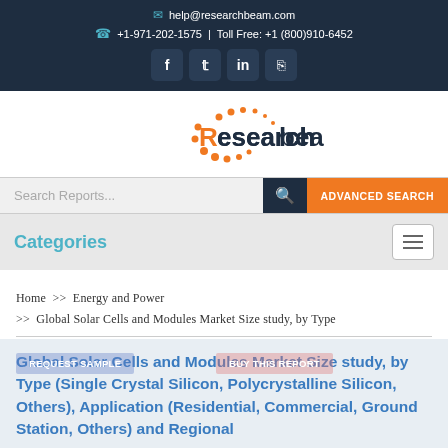help@researchbeam.com  +1-971-202-1575  |  Toll Free: +1 (800)910-6452
[Figure (logo): Researchbeam logo with orange circular dotted arc and orange/dark text]
Search Reports...  ADVANCED SEARCH
Categories
Home >> Energy and Power >> Global Solar Cells and Modules Market Size study, by Type
Global Solar Cells and Modules Market Size study, by Type (Single Crystal Silicon, Polycrystalline Silicon, Others), Application (Residential, Commercial, Ground Station, Others) and Regional